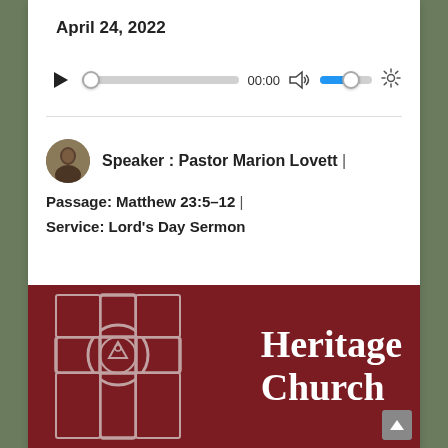April 24, 2022
[Figure (other): Audio player widget with play button, progress bar at 0:00, volume control, and settings gear icon]
Speaker : Pastor Marion Lovett |
Passage: Matthew 23:5–12 |
Service: Lord's Day Sermon
[Figure (logo): Heritage Church banner: dark red background with Celtic cross logo on left and 'Heritage Church' text in white serif font on right]